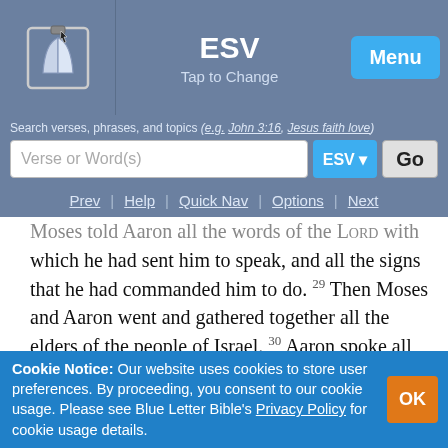ESV — Tap to Change | Menu
Search verses, phrases, and topics (e.g. John 3:16, Jesus faith love)
which he had sent him to speak, and all the signs that he had commanded him to do. 29 Then Moses and Aaron went and gathered together all the elders of the people of Israel. 30 Aaron spoke all the words that the LORD had spoken to Moses and did the signs in the sight of the people. 31 And the people believed; and when they heard that the LORD had visited the people of Israel and that he had seen
Cookie Notice: Our website uses cookies to store user preferences. By proceeding, you consent to our cookie usage. Please see Blue Letter Bible's Privacy Policy for cookie usage details.